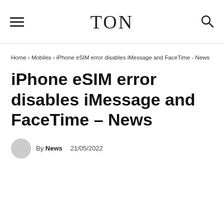TON
Home › Mobiles › iPhone eSIM error disables iMessage and FaceTime - News
iPhone eSIM error disables iMessage and FaceTime – News
By News  21/05/2022